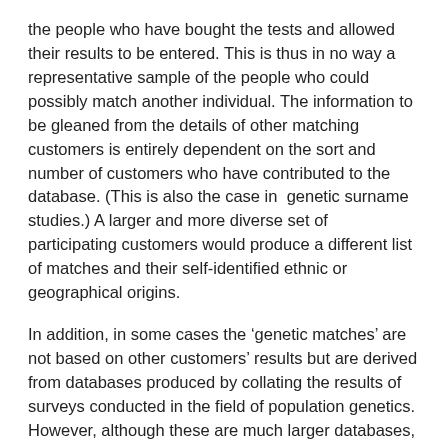the people who have bought the tests and allowed their results to be entered. This is thus in no way a representative sample of the people who could possibly match another individual. The information to be gleaned from the details of other matching customers is entirely dependent on the sort and number of customers who have contributed to the database. (This is also the case in  genetic surname studies.) A larger and more diverse set of participating customers would produce a different list of matches and their self-identified ethnic or geographical origins.
In addition, in some cases the ‘genetic matches’ are not based on other customers’ results but are derived from databases produced by collating the results of surveys conducted in the field of population genetics. However, although these are much larger databases, they are also the result of the selective sampling strategies of the researches and may contain many more matches to areas that have simply been surveyed in more detail. The issue here is the problem of aggregating information. Surveys may be done comprehensively in the particular regions being studied by population geneticists but the database that is produced by